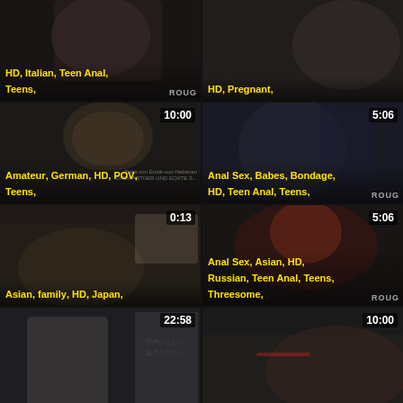[Figure (screenshot): Video thumbnail 1 - top left, partial, showing tags: HD, Italian, Teen Anal, Teens]
[Figure (screenshot): Video thumbnail 2 - top right, partial, duration implied, tags: HD, Pregnant]
[Figure (screenshot): Video thumbnail 3 - row 2 left, duration 10:00, tags: Amateur, German, HD, POV, Teens]
[Figure (screenshot): Video thumbnail 4 - row 2 right, duration 5:06, tags: Anal Sex, Babes, Bondage, HD, Teen Anal, Teens]
[Figure (screenshot): Video thumbnail 5 - row 3 left, duration 0:13, tags: Asian, family, HD, Japan]
[Figure (screenshot): Video thumbnail 6 - row 3 right, duration 5:06, tags: Anal Sex, Asian, HD, Russian, Teen Anal, Teens, Threesome]
[Figure (screenshot): Video thumbnail 7 - row 4 left, duration 22:58, partial]
[Figure (screenshot): Video thumbnail 8 - row 4 right, duration 10:00, partial]